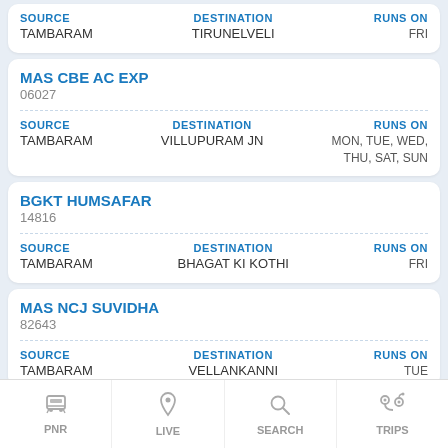| SOURCE | DESTINATION | RUNS ON |
| --- | --- | --- |
| TAMBARAM | TIRUNELVELI | FRI |
MAS CBE AC EXP
06027
| SOURCE | DESTINATION | RUNS ON |
| --- | --- | --- |
| TAMBARAM | VILLUPURAM JN | MON, TUE, WED, THU, SAT, SUN |
BGKT HUMSAFAR
14816
| SOURCE | DESTINATION | RUNS ON |
| --- | --- | --- |
| TAMBARAM | BHAGAT KI KOTHI | FRI |
MAS NCJ SUVIDHA
82643
| SOURCE | DESTINATION | RUNS ON |
| --- | --- | --- |
| TAMBARAM | VELLANKANNI | TUE |
PNR  LIVE  SEARCH  TRIPS